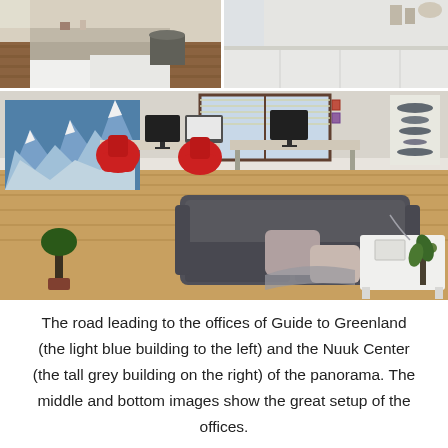[Figure (photo): Composite of three office interior photographs. Top row: two side-by-side photos of a kitchen/workspace area with white counters and wooden floors. Bottom: a larger photo of an open office with red chairs, standing desks, computers, a large panoramic mountain mural on the left wall, windows with blinds, a grey sofa with cushions, and a white coffee table in the foreground.]
The road leading to the offices of Guide to Greenland (the light blue building to the left) and the Nuuk Center (the tall grey building on the right) of the panorama. The middle and bottom images show the great setup of the offices.